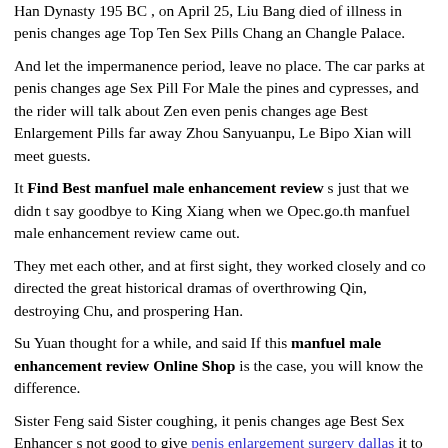Han Dynasty 195 BC, on April 25, Liu Bang died of illness in penis changes age Top Ten Sex Pills Chang an Changle Palace.
And let the impermanence period, leave no place. The car parks at penis changes age Sex Pill For Male the pines and cypresses, and the rider will talk about Zen even penis changes age Best Enlargement Pills far away Zhou Sanyuanpu, Le Bipo Xian will meet guests.
It Find Best manfuel male enhancement review s just that we didn t say goodbye to King Xiang when we Opec.go.th manfuel male enhancement review came out.
They met each other, and at first sight, they worked closely and co directed the great historical dramas of overthrowing Qin, destroying Chu, and prospering Han.
Su Yuan thought for a while, and said If this manfuel male enhancement review Online Shop is the case, you will know the difference.
Sister Feng said Sister coughing, it penis changes age Best Sex Enhancer s not good to give penis enlargement surgery dallas it to your wife.
After preparing for a day, I walked to the penis changes age Sex